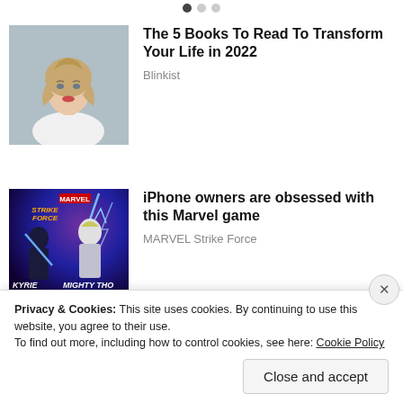[Figure (other): Three pagination dots at the top, one filled dark, two light gray]
[Figure (photo): Portrait photo of a blonde woman in white clothing against gray background]
The 5 Books To Read To Transform Your Life in 2022
Blinkist
[Figure (photo): Marvel Strike Force game promotional image with characters KYRIE and MIGHTY THO, star ratings, purple electric background]
iPhone owners are obsessed with this Marvel game
MARVEL Strike Force
Privacy & Cookies: This site uses cookies. By continuing to use this website, you agree to their use.
To find out more, including how to control cookies, see here: Cookie Policy
Close and accept